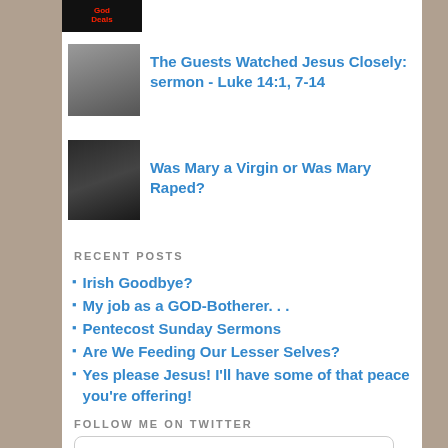[Figure (logo): God Deals logo in red text on black background]
[Figure (photo): Person sitting, thumbnail image for blog post]
The Guests Watched Jesus Closely: sermon - Luke 14:1, 7-14
[Figure (photo): Woman portrait, thumbnail image for blog post]
Was Mary a Virgin or Was Mary Raped?
RECENT POSTS
Irish Goodbye?
My job as a GOD-Botherer. . .
Pentecost Sunday Sermons
Are We Feeding Our Lesser Selves?
Yes please Jesus! I'll have some of that peace you're offering!
FOLLOW ME ON TWITTER
Tweets from @DawnHutt